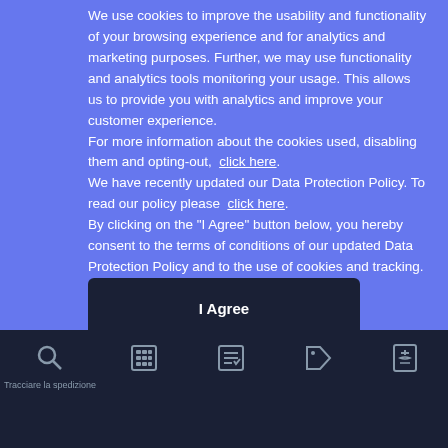We use cookies to improve the usability and functionality of your browsing experience and for analytics and marketing purposes. Further, we may use functionality and analytics tools monitoring your usage. This allows us to provide you with analytics and improve your customer experience. For more information about the cookies used, disabling them and opting-out, click here. We have recently updated our Data Protection Policy. To read our policy please click here. By clicking on the "I Agree" button below, you hereby consent to the terms of conditions of our updated Data Protection Policy and to the use of cookies and tracking.
Cookies Settings
Reject All
I Agree
Tracciare la spedizione